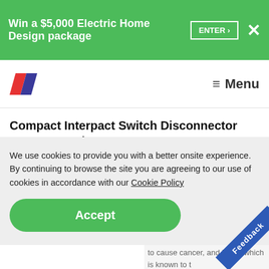Win a $5,000 Electric Home Design package  ENTER ›  ✕
[Figure (logo): Website logo with red and blue diagonal stripes forming a stylized shape]
☰  Menu
Compact Interpact Switch Disconnector INS100, 3 Poles, 100A
▼ Jump to...
We use cookies to provide you with a better onsite experience. By continuing to browse the site you are agreeing to our use of cookies in accordance with our Cookie Policy
Accept
chemicals including: DINP, which is known to the State of California to cause cancer, and DIDP, which is known to t...